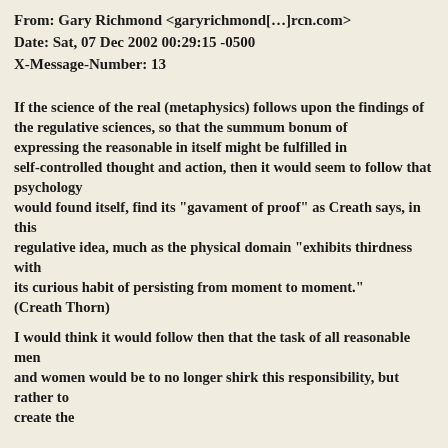From: Gary Richmond <garyrichmond[...]rcn.com>
Date: Sat, 07 Dec 2002 00:29:15 -0500
X-Message-Number: 13
If the science of the real (metaphysics) follows upon the findings of the regulative sciences, so that the summum bonum of expressing the reasonable in itself might be fulfilled in self-controlled thought and action, then it would seem to follow that psychology would found itself, find its "gavament of proof" as Creath says, in this regulative idea, much as the physical domain "exhibits thirdness with its curious habit of persisting from moment to moment." (Creath Thorn)
I would think it would follow then that the task of all reasonable men and women would be to no longer shirk this responsibility, but rather to create the